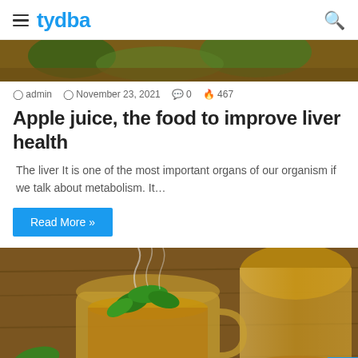tydba
[Figure (photo): Top portion of a hero image showing leaves and brown/green background]
admin  November 23, 2021  0  467
Apple juice, the food to improve liver health
The liver It is one of the most important organs of our organism if we talk about metabolism. It...
Read More »
[Figure (photo): A glass cup of hot herbal tea with mint leaves, steaming, on a wooden surface, with another glass of golden liquid in the background]